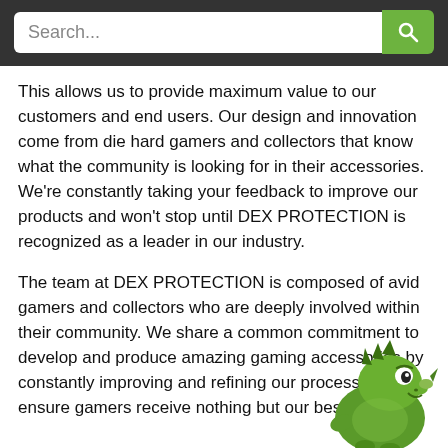Search...
This allows us to provide maximum value to our customers and end users. Our design and innovation come from die hard gamers and collectors that know what the community is looking for in their accessories. We're constantly taking your feedback to improve our products and won't stop until DEX PROTECTION is recognized as a leader in our industry.
The team at DEX PROTECTION is composed of avid gamers and collectors who are deeply involved within their community. We share a common commitment to develop and produce amazing gaming accessories by constantly improving and refining our process to ensure gamers receive nothing but our best.
[Figure (illustration): Green cartoon dinosaur/rhino mascot character in the bottom right corner]